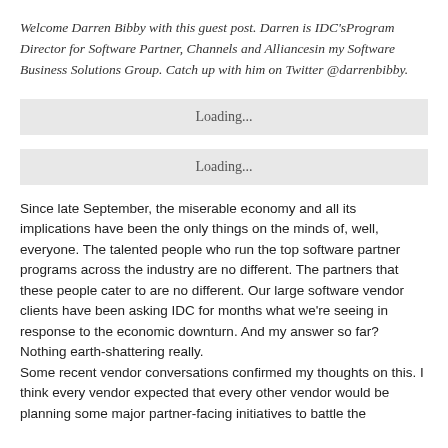Welcome Darren Bibby with this guest post. Darren is IDC'sProgram Director for Software Partner, Channels and Alliancesin my Software Business Solutions Group. Catch up with him on Twitter @darrenbibby.
[Figure (other): Loading... placeholder box (gray background)]
[Figure (other): Loading... placeholder box (gray background)]
Since late September, the miserable economy and all its implications have been the only things on the minds of, well, everyone. The talented people who run the top software partner programs across the industry are no different. The partners that these people cater to are no different. Our large software vendor clients have been asking IDC for months what we’re seeing in response to the economic downturn. And my answer so far? Nothing earth-shattering really.
Some recent vendor conversations confirmed my thoughts on this. I think every vendor expected that every other vendor would be planning some major partner-facing initiatives to battle the